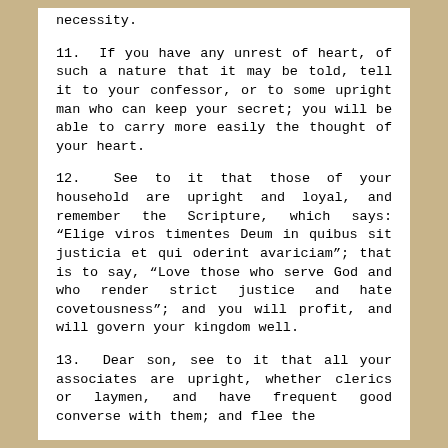necessity.
11. If you have any unrest of heart, of such a nature that it may be told, tell it to your confessor, or to some upright man who can keep your secret; you will be able to carry more easily the thought of your heart.
12. See to it that those of your household are upright and loyal, and remember the Scripture, which says: “Elige viros timentes Deum in quibus sit justicia et qui oderint avariciam”; that is to say, “Love those who serve God and who render strict justice and hate covetousness”; and you will profit, and will govern your kingdom well.
13. Dear son, see to it that all your associates are upright, whether clerics or laymen, and have frequent good converse with them; and flee the